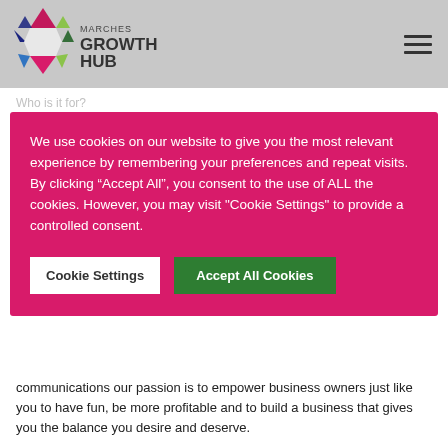Marches Growth Hub
We use cookies on our website to give you the most relevant experience by remembering your preferences and repeat visits. By clicking “Accept All”, you consent to the use of ALL the cookies. However, you may visit "Cookie Settings" to provide a controlled consent.
Cookie Settings | Accept All Cookies
communications our passion is to empower business owners just like you to have fun, be more profitable and to build a business that gives you the balance you desire and deserve.
The Boring Bit
BACK TO TOP